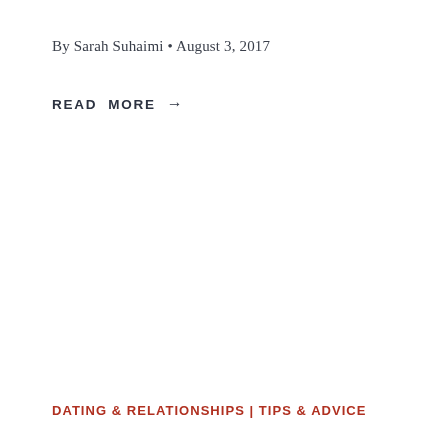By Sarah Suhaimi • August 3, 2017
READ MORE →
DATING & RELATIONSHIPS | TIPS & ADVICE